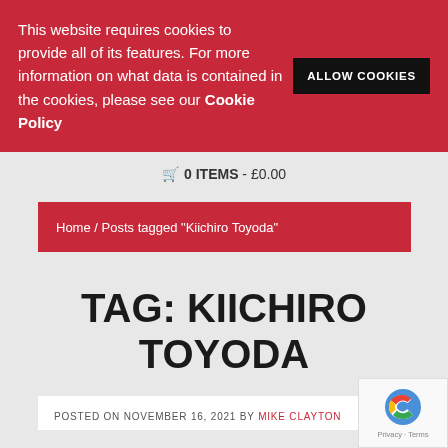This website requires cookies to provide all of its features. For more information on what data is contained in the cookies, please see our Cookie Policy
ALLOW COOKIES
🛒 0 ITEMS - £0.00
Home / Posts tagged "Kiichiro Toyoda"
TAG: KIICHIRO TOYODA
POSTED ON NOVEMBER 16, 2021 by Mike Clayton